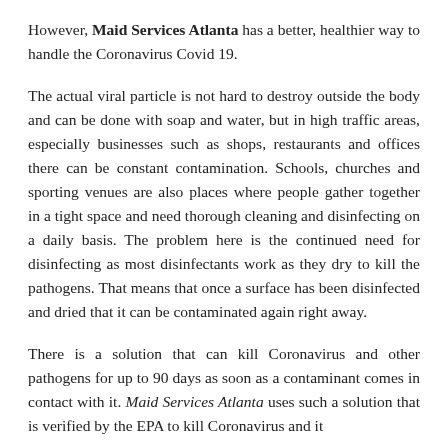However, Maid Services Atlanta has a better, healthier way to handle the Coronavirus Covid 19.
The actual viral particle is not hard to destroy outside the body and can be done with soap and water, but in high traffic areas, especially businesses such as shops, restaurants and offices there can be constant contamination. Schools, churches and sporting venues are also places where people gather together in a tight space and need thorough cleaning and disinfecting on a daily basis. The problem here is the continued need for disinfecting as most disinfectants work as they dry to kill the pathogens. That means that once a surface has been disinfected and dried that it can be contaminated again right away.
There is a solution that can kill Coronavirus and other pathogens for up to 90 days as soon as a contaminant comes in contact with it. Maid Services Atlanta uses such a solution that is verified by the EPA to kill Coronavirus and it